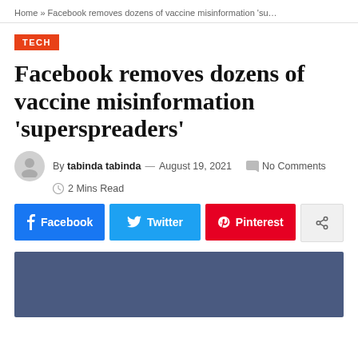Home » Facebook removes dozens of vaccine misinformation 'su…
TECH
Facebook removes dozens of vaccine misinformation 'superspreaders'
By tabinda tabinda — August 19, 2021   No Comments   2 Mins Read
[Figure (infographic): Social share buttons: Facebook (blue), Twitter (light blue), Pinterest (red/pink), Share (grey)]
[Figure (photo): Blue/dark blue rectangular image placeholder at bottom of page]